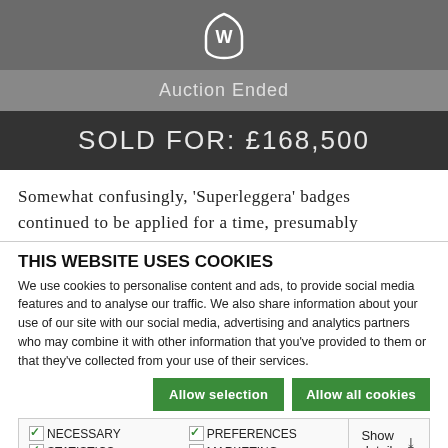[Figure (logo): White shield/badge logo on grey background]
Auction Ended
SOLD FOR: £168,500
Somewhat confusingly, 'Superleggera' badges continued to be applied for a time, presumably
THIS WEBSITE USES COOKIES
We use cookies to personalise content and ads, to provide social media features and to analyse our traffic. We also share information about your use of our site with our social media, advertising and analytics partners who may combine it with other information that you've provided to them or that they've collected from your use of their services.
Allow selection
Allow all cookies
NECESSARY  PREFERENCES  STATISTICS  MARKETING  Show details